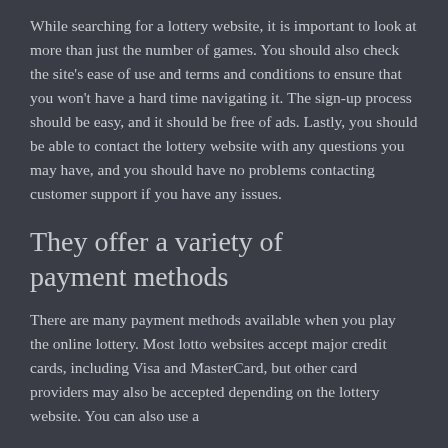While searching for a lottery website, it is important to look at more than just the number of games. You should also check the site's ease of use and terms and conditions to ensure that you won't have a hard time navigating it. The sign-up process should be easy, and it should be free of ads. Lastly, you should be able to contact the lottery website with any questions you may have, and you should have no problems contacting customer support if you have any issues.
They offer a variety of payment methods
There are many payment methods available when you play the online lottery. Most lotto websites accept major credit cards, including Visa and MasterCard, but other card providers may also be accepted depending on the lottery website. You can also use a